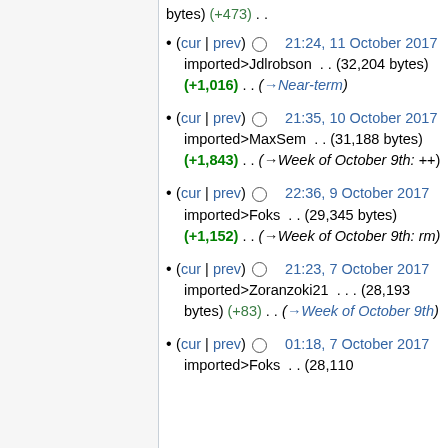bytes) (+473) . .
(cur | prev) ○ 21:24, 11 October 2017 imported>Jdlrobson . . (32,204 bytes) (+1,016) . . (→Near-term)
(cur | prev) ○ 21:35, 10 October 2017 imported>MaxSem . . (31,188 bytes) (+1,843) . . (→Week of October 9th: ++)
(cur | prev) ○ 22:36, 9 October 2017 imported>Foks . . (29,345 bytes) (+1,152) . . (→Week of October 9th: rm)
(cur | prev) ○ 21:23, 7 October 2017 imported>Zoranzoki21 . . . (28,193 bytes) (+83) . . (→Week of October 9th)
(cur | prev) ○ 01:18, 7 October 2017 imported>Foks . . (28,110